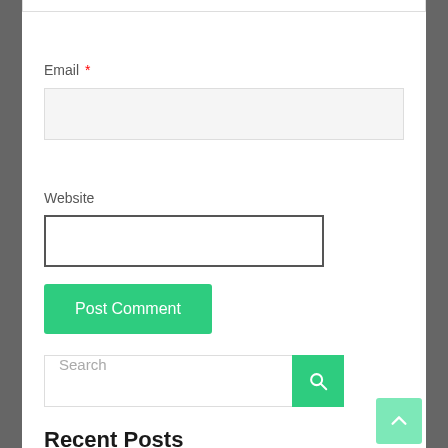Email *
[Figure (screenshot): Email input field (grey background, light border)]
Website
[Figure (screenshot): Website input field (white background, dark border)]
[Figure (screenshot): Post Comment green button]
[Figure (screenshot): Search bar with green search button]
Recent Posts
[Figure (screenshot): Back to top button (light green, up arrow) in bottom-right corner]